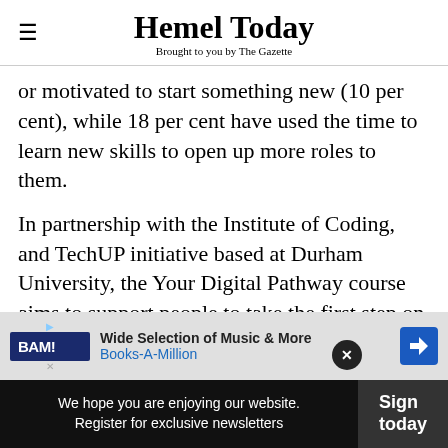Hemel Today — Brought to you by The Gazette
or motivated to start something new (10 per cent), while 18 per cent have used the time to learn new skills to open up more roles to them.
In partnership with the Institute of Coding, and TechUP initiative based at Durham University, the Your Digital Pathway course aims to support people to take the first step on the pathway to building their digital skills, to help them return to or...
[Figure (other): Advertisement banner for Books-A-Million (BAM) with text 'Wide Selection of Music & More' and 'Books-A-Million']
We hope you are enjoying our website. Register for exclusive newsletters | Sign today